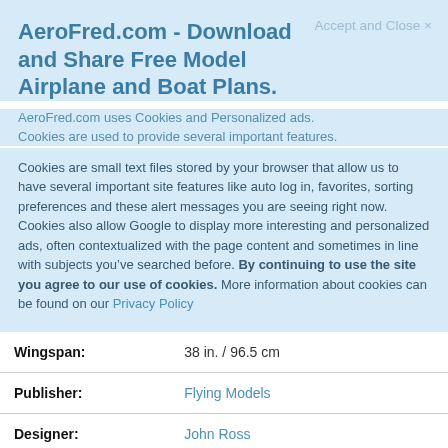AeroFred.com - Download and Share Free Model Airplane and Boat Plans.
Accept and Close ×
AeroFred.com uses Cookies and Personalized ads.
Cookies are used to provide several important features.
Cookies are small text files stored by your browser that allow us to have several important site features like auto log in, favorites, sorting preferences and these alert messages you are seeing right now. Cookies also allow Google to display more interesting and personalized ads, often contextualized with the page content and sometimes in line with subjects you've searched before. By continuing to use the site you agree to our use of cookies. More information about cookies can be found on our Privacy Policy
| Field | Value |
| --- | --- |
| Wingspan: | 38 in. / 96.5 cm |
| Publisher: | Flying Models |
| Designer: | John Ross |
| Date: | 05/1984 |
| Plan File Info: |  |